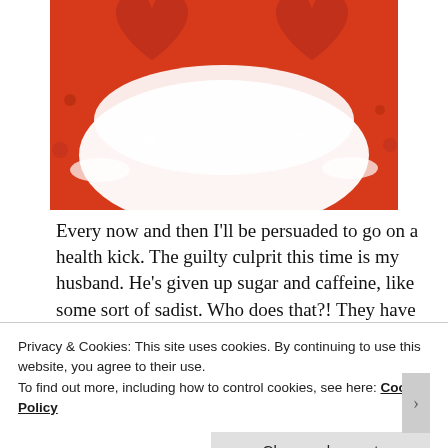[Figure (photo): A bowl or heart shape made of white sugar/powder against a red background, with red heart shapes partially visible at the top]
Every now and then I'll be persuaded to go on a health kick. The guilty culprit this time is my husband. He's given up sugar and caffeine, like some sort of sadist. Who does that?! They have to be the top two best things in life!
Now, while you can pry my coffee out of my cold, dead hands, I do have a problem with my sweet
Privacy & Cookies: This site uses cookies. By continuing to use this website, you agree to their use.
To find out more, including how to control cookies, see here: Cookie Policy
Close and accept